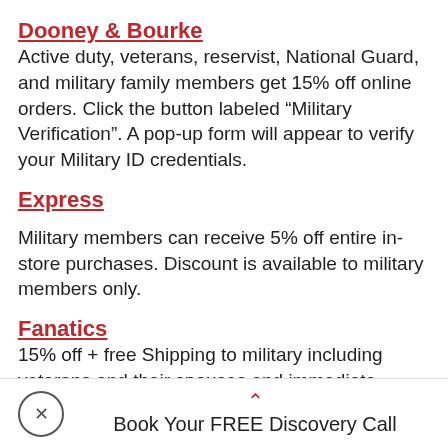Dooney & Bourke
Active duty, veterans, reservist, National Guard, and military family members get 15% off online orders. Click the button labeled “Military Verification”. A pop-up form will appear to verify your Military ID credentials.
Express
Military members can receive 5% off entire in-store purchases. Discount is available to military members only.
Fanatics
15% off + free Shipping to military including veterans and their spouses and immediate
Book Your FREE Discovery Call